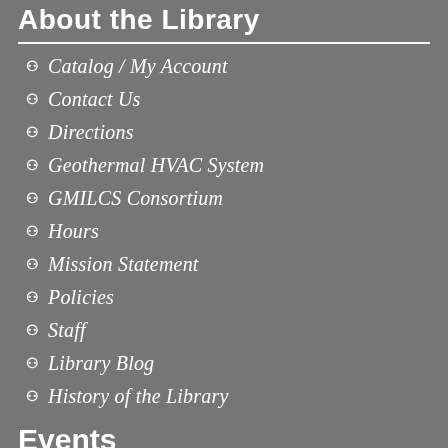About the Library
Catalog / My Account
Contact Us
Directions
Geothermal HVAC System
GMILCS Consortium
Hours
Mission Statement
Policies
Staff
Library Blog
History of the Library
Events